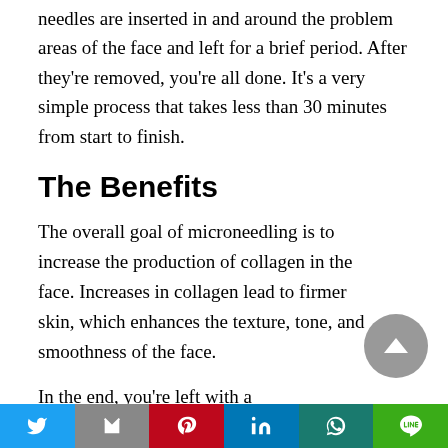needles are inserted in and around the problem areas of the face and left for a brief period. After they're removed, you're all done. It's a very simple process that takes less than 30 minutes from start to finish.
The Benefits
The overall goal of microneedling is to increase the production of collagen in the face. Increases in collagen lead to firmer skin, which enhances the texture, tone, and smoothness of the face.
In the end, you're left with a smoother, more enriched facial tone that can improve your look